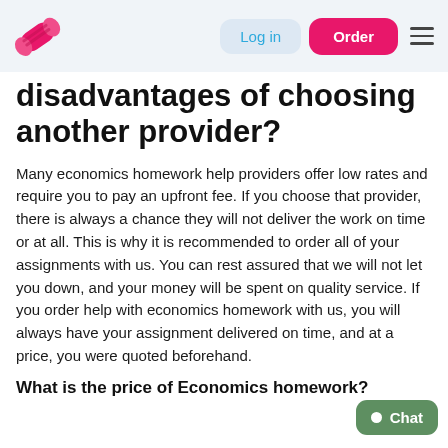Log in | Order
disadvantages of choosing another provider?
Many economics homework help providers offer low rates and require you to pay an upfront fee. If you choose that provider, there is always a chance they will not deliver the work on time or at all. This is why it is recommended to order all of your assignments with us. You can rest assured that we will not let you down, and your money will be spent on quality service. If you order help with economics homework with us, you will always have your assignment delivered on time, and at a price, you were quoted beforehand.
What is the price of Economics homework?